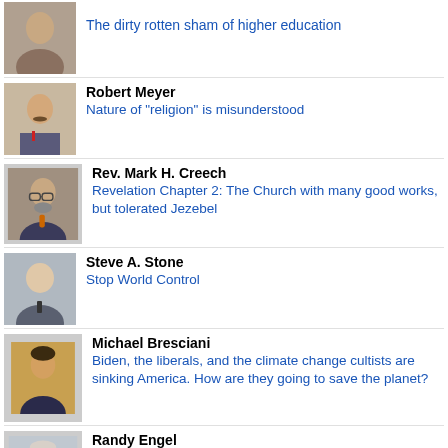The dirty rotten sham of higher education
Robert Meyer
Nature of "religion" is misunderstood
Rev. Mark H. Creech
Revelation Chapter 2: The Church with many good works, but tolerated Jezebel
Steve A. Stone
Stop World Control
Michael Bresciani
Biden, the liberals, and the climate change cultists are sinking America. How are they going to save the planet?
Randy Engel
Bishop James T. McHugh: The forgotten man in the McCarrick equation (Part 5)
Jerry Newcombe
The comeback of God in some Texas schools?